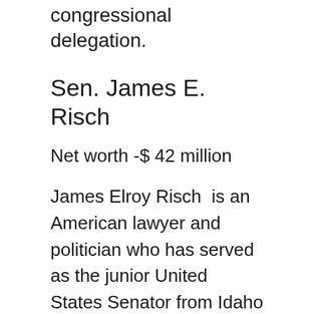congressional delegation.
Sen. James E. Risch
Net worth -$ 42 million
James Elroy Risch  is an American lawyer and politician who has served as the junior United States Senator from Idaho since 2009.  A member of the Republican Party, he served as lieutenant governor of Idaho from 2003 to 2006 and from 2007 to 2009, and as governor of Idaho from 2006 to 2007.